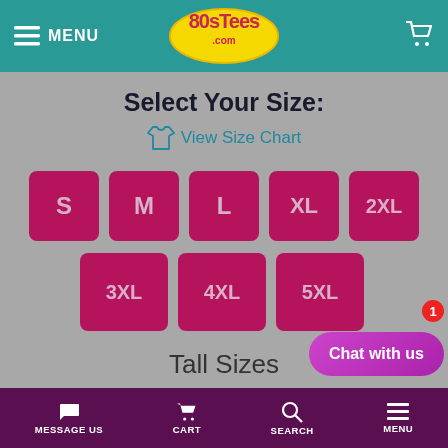MENU | 80sTees.com | Cart
Select Your Size:
View Size Chart
S
M
L
XL
2XL
3XL
4XL
5XL
Tall Sizes
Chat with us
MESSAGE US | CART | SEARCH | MENU